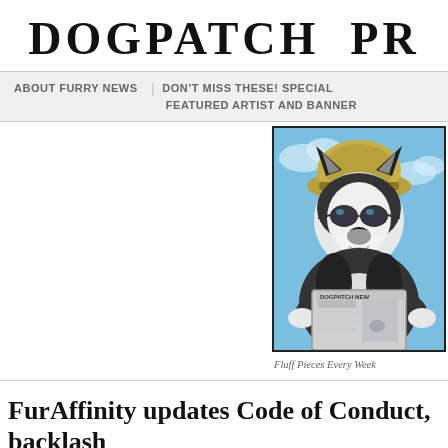DOGPATCH PR
ABOUT FURRY NEWS   DON'T MISS THESE! SPECIAL   FEATURED ARTIST AND BANNER
[Figure (illustration): Cartoon mascot: an anthropomorphic husky/wolf wearing a tan hat and sunglasses, holding a newspaper titled 'DOGPATCH NEWS', on a blue sky background.]
Fluff Pieces Every Week
FurAffinity updates Code of Conduct, backlash